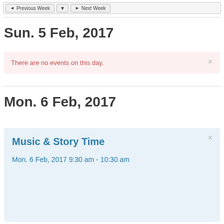[Figure (screenshot): Navigation bar with Previous Week, dropdown arrow, and Next Week buttons]
Sun. 5 Feb, 2017
There are no events on this day.
Mon. 6 Feb, 2017
Music & Story Time
Mon. 6 Feb, 2017 9:30 am - 10:30 am